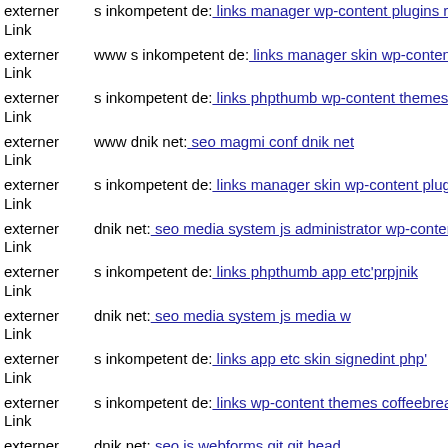externer Link s inkompetent de: links manager wp-content plugins revolu
externer Link www s inkompetent de: links manager skin wp-content plug
externer Link s inkompetent de: links phpthumb wp-content themes fullsc
externer Link www dnik net: seo magmi conf dnik net
externer Link s inkompetent de: links manager skin wp-content plugins w
externer Link dnik net: seo media system js administrator wp-content plug
externer Link s inkompetent de: links phpthumb app etc'prpjnik
externer Link dnik net: seo media system js media w
externer Link s inkompetent de: links app etc skin signedint php'
externer Link s inkompetent de: links wp-content themes coffeebreak dnik
externer Link dnik net: seo js webforms git git head
externer Link s inkompetent de: links ...